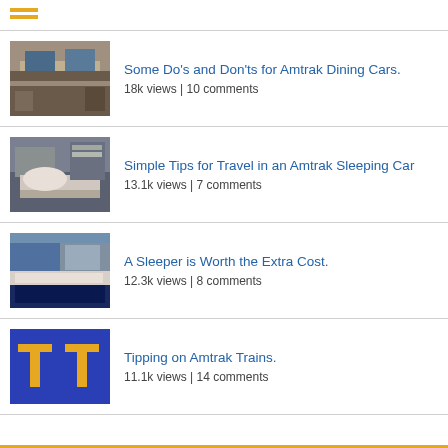[Figure (other): Hamburger menu icon with two orange horizontal bars]
Some Do's and Don'ts for Amtrak Dining Cars. | 18k views | 10 comments
Simple Tips for Travel in an Amtrak Sleeping Car | 13.1k views | 7 comments
A Sleeper is Worth the Extra Cost. | 12.3k views | 8 comments
Tipping on Amtrak Trains. | 11.1k views | 14 comments